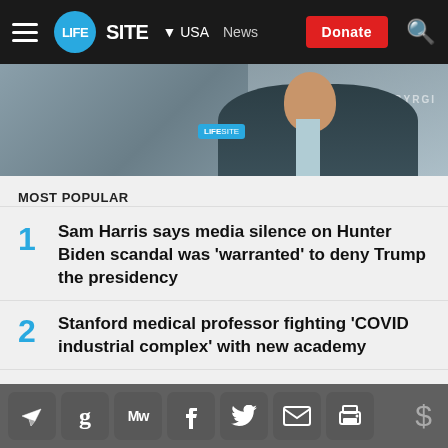LIFESITE — USA News | Donate
[Figure (photo): Partial photo of a man in dark suit jacket, with LIFESITE watermark badge, building text visible in background]
MOST POPULAR
1. Sam Harris says media silence on Hunter Biden scandal was 'warranted' to deny Trump the presidency
2. Stanford medical professor fighting 'COVID industrial complex' with new academy
3. World Economic Forum adviser Yuval Harari is a
Share icons: Telegram, Gettr, MeWe, Facebook, Twitter, Email, Print | Donate ($)